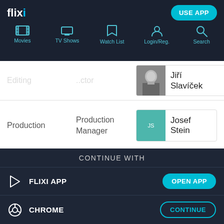flixi — Movies, TV Shows, Watch List, Login/Reg., Search, USE APP
[Figure (screenshot): Partial row showing a person card with a black-and-white photo and name 'Jiří Slavíček']
| Department | Role | Name |
| --- | --- | --- |
| Production | Production Manager | Josef Stein |
|  |  |  |
CONTINUE WITH
FLIXI APP — OPEN APP
CHROME — CONTINUE